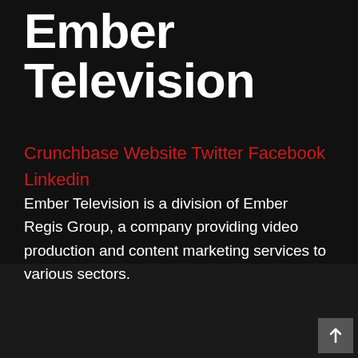Ember Television
Crunchbase Website Twitter Facebook Linkedin
Ember Television is a division of Ember Regis Group, a company providing video production and content marketing services to various sectors.